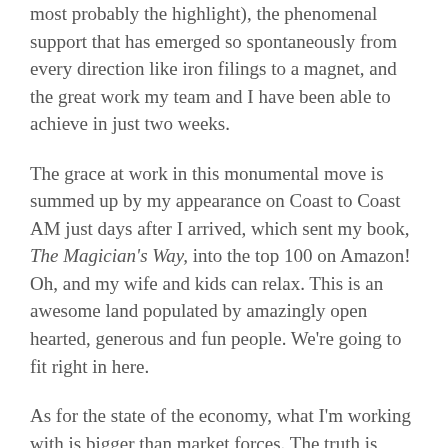most probably the highlight), the phenomenal support that has emerged so spontaneously from every direction like iron filings to a magnet, and the great work my team and I have been able to achieve in just two weeks.
The grace at work in this monumental move is summed up by my appearance on Coast to Coast AM just days after I arrived, which sent my book, The Magician's Way, into the top 100 on Amazon! Oh, and my wife and kids can relax. This is an awesome land populated by amazingly open hearted, generous and fun people. We're going to fit right in here.
As for the state of the economy, what I'm working with is bigger than market forces. The truth is always the highest vibration,